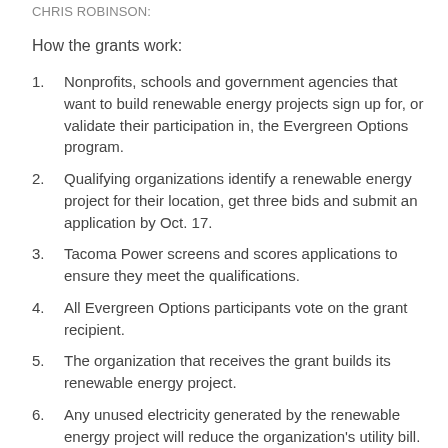CHRIS ROBINSON:
How the grants work:
Nonprofits, schools and government agencies that want to build renewable energy projects sign up for, or validate their participation in, the Evergreen Options program.
Qualifying organizations identify a renewable energy project for their location, get three bids and submit an application by Oct. 17.
Tacoma Power screens and scores applications to ensure they meet the qualifications.
All Evergreen Options participants vote on the grant recipient.
The organization that receives the grant builds its renewable energy project.
Any unused electricity generated by the renewable energy project will reduce the organization's utility bill.